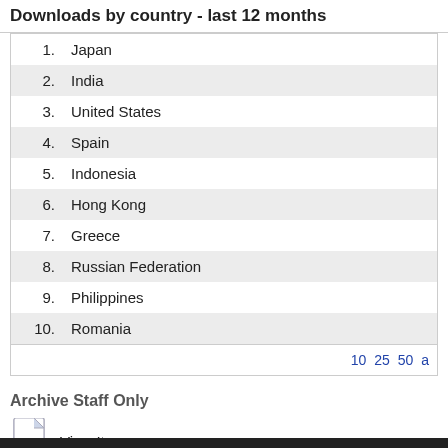Downloads by country - last 12 months
| # | Country |
| --- | --- |
| 1. | Japan |
| 2. | India |
| 3. | United States |
| 4. | Spain |
| 5. | Indonesia |
| 6. | Hong Kong |
| 7. | Greece |
| 8. | Russian Federation |
| 9. | Philippines |
| 10. | Romania |
10 25 50 a
Archive Staff Only
View Item